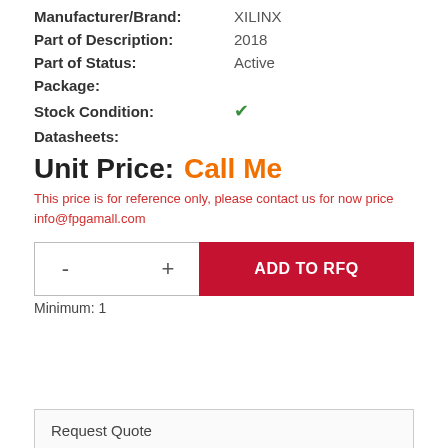Manufacturer/Brand: XILINX
Part of Description: 2018
Part of Status: Active
Package:
Stock Condition: ✓
Datasheets:
Unit Price: Call Me
This price is for reference only, please contact us for now price info@fpgamall.com
Minimum: 1
Request Quote